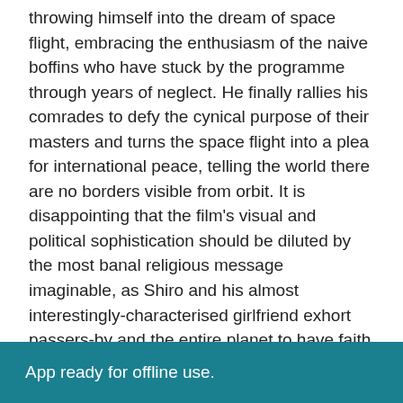throwing himself into the dream of space flight, embracing the enthusiasm of the naive boffins who have stuck by the programme through years of neglect. He finally rallies his comrades to defy the cynical purpose of their masters and turns the space flight into a plea for international peace, telling the world there are no borders visible from orbit. It is disappointing that the film's visual and political sophistication should be diluted by the most banal religious message imaginable, as Shiro and his almost interestingly-characterised girlfriend exhort passers-by and the entire planet to have faith in God. (The message is hardly vitiated by the film's invention of a non-specific religion, complete with creation myth, to go with its non-specific politics.)
As with many anime, there's a jarring foreignness to the
App ready for offline use.